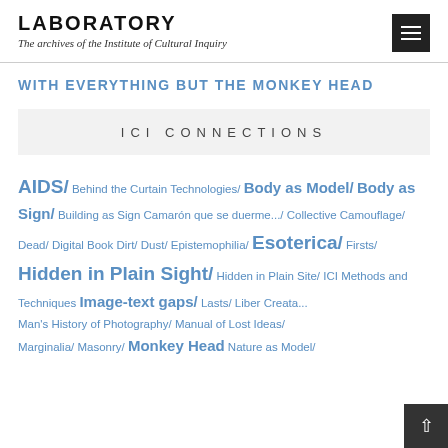LABORATORY
The archives of the Institute of Cultural Inquiry
WITH EVERYTHING BUT THE MONKEY HEAD
ICI CONNECTIONS
AIDS/ Behind the Curtain Technologies/ Body as Model/ Body as Sign/ Building as Sign Camarón que se duerme.../ Collective Camouflage/ Dead/ Digital Book Dirt/ Dust/ Epistemophilia/ Esoterica/ Firsts/ Hidden in Plain Sight/ Hidden in Plain Site/ ICI Methods and Techniques Image-text gaps/ Lasts/ Liber Creat... Man's History of Photography/ Manual of Lost Ideas/ Marginalia/ Masonry/ Monkey Head Nature as Model/